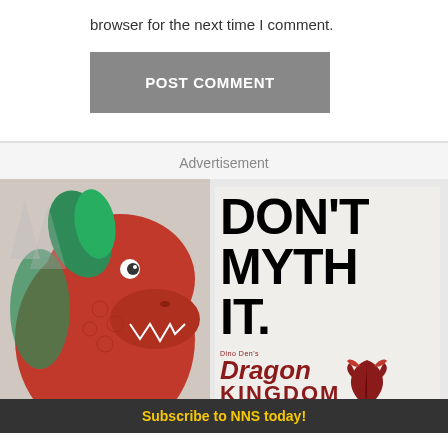browser for the next time I comment.
[Figure (other): POST COMMENT button - gray rectangular button with white bold text]
Advertisement
[Figure (illustration): Advertisement for Dino Den's Dragon Kingdom at Milwaukee County Zoo. Left half shows a red dragon sculpture/figure. Right half shows bold black text 'DON'T MYTH IT.' with the Dragon Kingdom logo in dark red, including a phoenix/dragon bird icon, and 'MILWAUKEE COUNTY ZOO' text, and 'Sendik's' cursive text at bottom.]
Subscribe to NNS today!